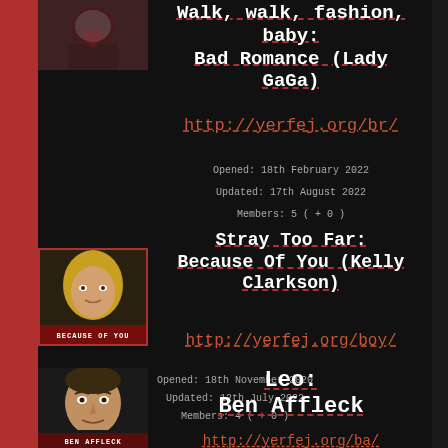[Figure (photo): Small image of Lady GaGa Bad Romance costume with red/dark tones]
Walk, walk, fashion, baby: Bad Romance (Lady GaGa)
http://yerfej.org/br/
Opened: 18th February 2022
Updated: 17th August 2022
Members: 5 ( + 0 )
[Figure (photo): Kelly Clarkson photo with 'Because Of You' red label overlay]
Stray Too Far: Because Of You (Kelly Clarkson)
http://yerfej.org/boy/
Opened: 18th November 2020
Updated: 12th July 2022
Members: 4 ( + 0 )
[Figure (photo): Ben Affleck photo with 'Ben Affleck' label]
Leo: Ben Affleck
http://yerfej.org/ba/